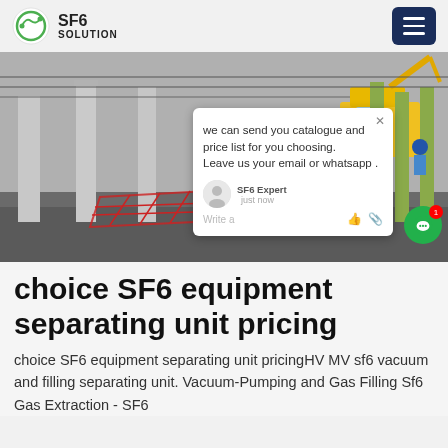SF6 SOLUTION
[Figure (photo): Industrial electrical substation with heavy equipment (yellow crane/excavator) and metal support poles, red safety netting in foreground. Chat popup overlay showing message: 'we can send you catalogue and price list for you choosing. Leave us your email or whatsapp .' from SF6 Expert.]
choice SF6 equipment separating unit pricing
choice SF6 equipment separating unit pricingHV MV sf6 vacuum and filling separating unit. Vacuum-Pumping and Gas Filling Sf6 Gas Extraction - SF6